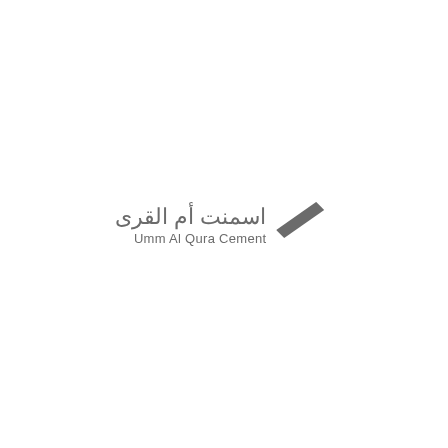[Figure (logo): Umm Al Qura Cement company logo with Arabic text 'اسمنت أم القرى' and English text 'Umm Al Qura Cement', accompanied by a grey parallelogram/rhombus shape icon to the right]